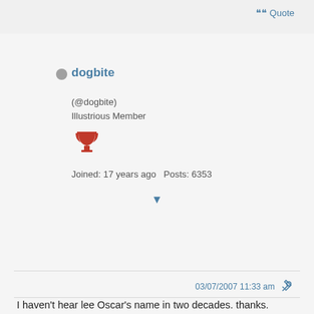Quote
dogbite
(@dogbite)
Illustrious Member
Joined: 17 years ago  Posts: 6353
03/07/2007 11:33 am
I haven't hear lee Oscar's name in two decades. thanks. I bet that reed could be mended. but who mends harmonicas?